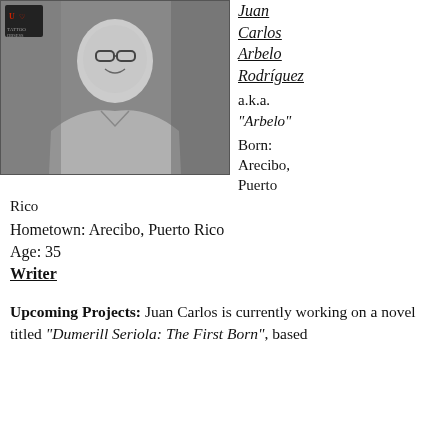[Figure (photo): Black and white photo of a man wearing glasses and a button-up shirt, smiling. A small logo with a red design is visible in the upper left corner of the photo.]
Juan Carlos Arbelo Rodríguez
a.k.a. "Arbelo"
Born: Arecibo, Puerto Rico
Hometown: Arecibo, Puerto Rico
Age: 35
Writer
Upcoming Projects: Juan Carlos is currently working on a novel titled "Dumerill Seriola: The First Born", based